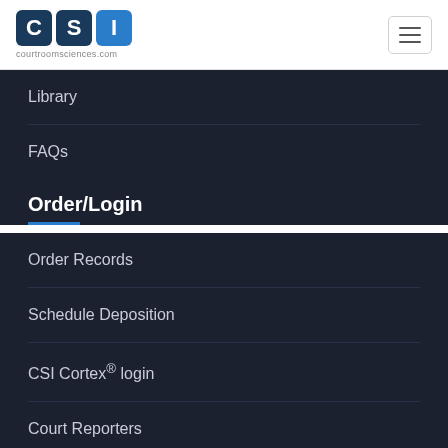[Figure (logo): CSI Courtroom Sciences logo with three colored boxes C, S, I and website courtroomsciences.com]
Library
FAQs
Order/Login
Order Records
Schedule Deposition
CSI Cortex® login
Court Reporters
About Us
Courtroom Sciences, Inc. partners with law firms and corporations...